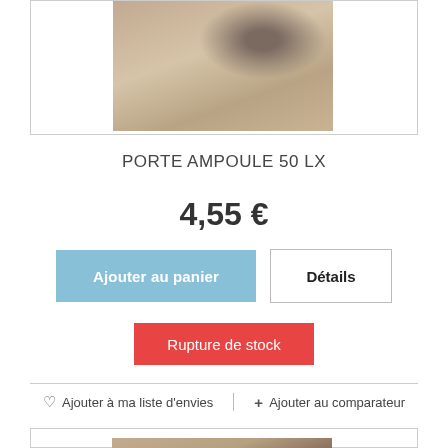[Figure (photo): Product photo of PORTE AMPOULE 50 LX, a beige/brown automotive or lighting component on a light background, partially shown at top of page]
PORTE AMPOULE 50 LX
4,55 €
Ajouter au panier
Détails
Rupture de stock
Ajouter à ma liste d'envies
Ajouter au comparateur
[Figure (photo): Bottom partial product photo, similar item, mostly cut off at bottom of page]